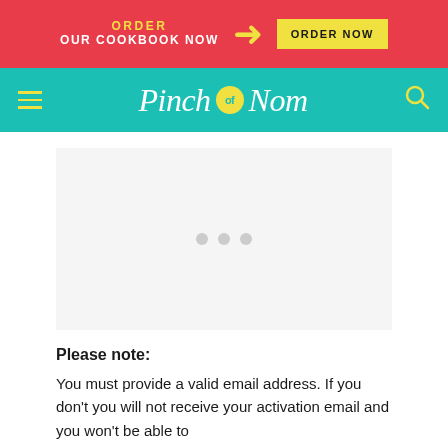ORDER OUR COOKBOOK NOW → ORDER NOW
[Figure (logo): Pinch of Nom website logo with teal navigation bar, hamburger menu on left, search icon on right]
[Figure (other): Advertisement placeholder with three grey dots]
Please note:
You must provide a valid email address. If you don't you will not receive your activation email and you won't be able to